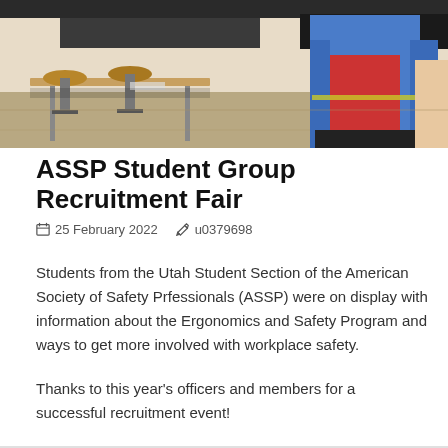[Figure (photo): A photo showing a cafeteria or common area with metal bar stools and tables in the foreground, and a person wearing a blue and red jacket/vest visible in the background.]
ASSP Student Group Recruitment Fair
📅 25 February 2022  ✏ u0379698
Students from the Utah Student Section of the American Society of Safety Prfessionals (ASSP) were on display with information about the Ergonomics and Safety Program and ways to get more involved with workplace safety.
Thanks to this year's officers and members for a successful recruitment event!